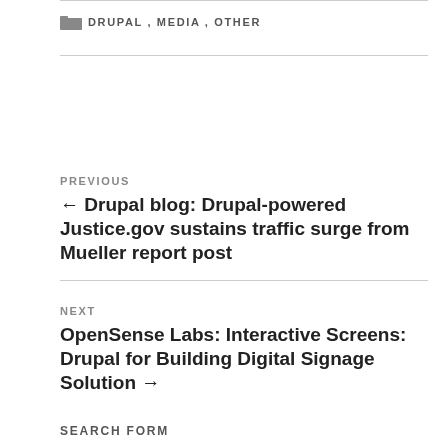DRUPAL, MEDIA, OTHER
PREVIOUS
← Drupal blog: Drupal-powered Justice.gov sustains traffic surge from Mueller report post
NEXT
OpenSense Labs: Interactive Screens: Drupal for Building Digital Signage Solution →
SEARCH FORM